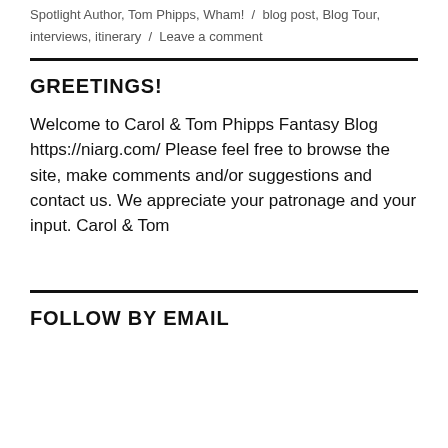Spotlight Author, Tom Phipps, Wham! / blog post, Blog Tour, interviews, itinerary / Leave a comment
GREETINGS!
Welcome to Carol & Tom Phipps Fantasy Blog https://niarg.com/ Please feel free to browse the site, make comments and/or suggestions and contact us. We appreciate your patronage and your input. Carol & Tom
FOLLOW BY EMAIL